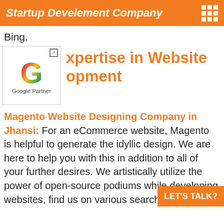Startup Develement Company
Bing.
[Figure (logo): Google Partner logo with colourful G icon and text 'Google Partner']
Expertise in Website Development
Magento Website Designing Company in Jhansi: For an eCommerce website, Magento is helpful to generate the idyllic design. We are here to help you with this in addition to all of your further desires. We artistically utilize the power of open-source podiums while developing websites, find us on various search engines by s...